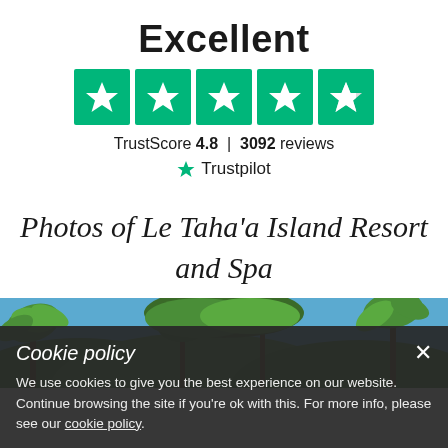Excellent
[Figure (other): Five Trustpilot green star rating boxes (4.8 out of 5)]
TrustScore 4.8 | 3092 reviews
★ Trustpilot
Photos of Le Taha'a Island Resort and Spa
[Figure (photo): Tropical landscape photo showing palm trees and lush green foliage against a blue sky]
Cookie policy ×
We use cookies to give you the best experience on our website. Continue browsing the site if you're ok with this. For more info, please see our cookie policy.